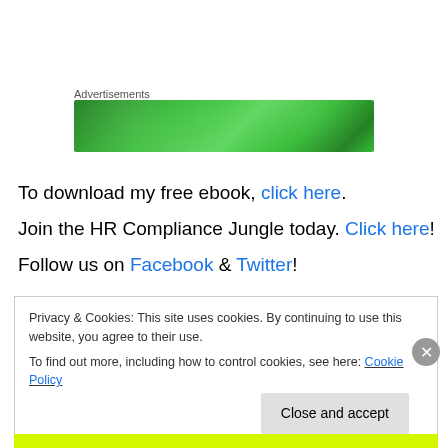Advertisements
[Figure (illustration): Green advertisement banner with gradient lighting effects]
To download my free ebook, click here.
Join the HR Compliance Jungle today. Click here!
Follow us on Facebook & Twitter!
Privacy & Cookies: This site uses cookies. By continuing to use this website, you agree to their use.
To find out more, including how to control cookies, see here: Cookie Policy
Close and accept